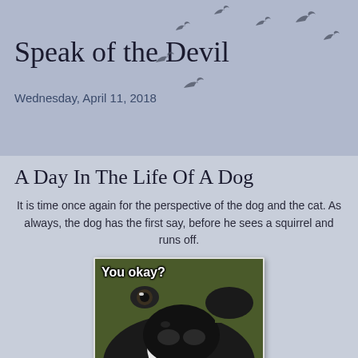Speak of the Devil
Wednesday, April 11, 2018
A Day In The Life Of A Dog
It is time once again for the perspective of the dog and the cat. As always, the dog has the first say, before he sees a squirrel and runs off.
[Figure (photo): Close-up photo of a dog's nose and face looking down at the camera with text overlay 'You okay?']